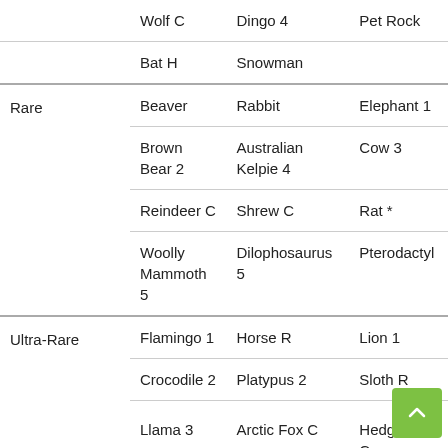| Rarity | Col A | Col B | Col C |
| --- | --- | --- | --- |
|  | Wolf C | Dingo 4 | Pet Rock |
|  | Bat H | Snowman |  |
| Rare | Beaver | Rabbit | Elephant 1 |
|  | Brown Bear 2 | Australian Kelpie 4 | Cow 3 |
|  | Reindeer C | Shrew C | Rat * |
|  | Woolly Mammoth 5 | Dilophosaurus 5 | Pterodactyl… |
| Ultra-Rare | Flamingo 1 | Horse R | Lion 1 |
|  | Crocodile 2 | Platypus 2 | Sloth R |
|  | Llama 3 | Arctic Fox C | Hedgehog C… |
|  | Frog 4 | Ginger Cat | Touc… |